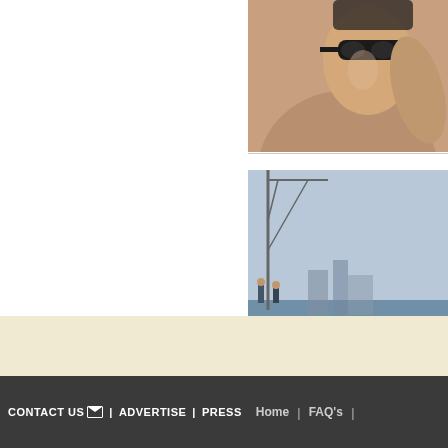[Figure (photo): Close-up photo of a male swimmer adjusting goggles, shown from shoulders up with muscular build]
[Figure (photo): Photo of a teal/green racing car with number 017 near waterfront, with people standing in background]
CONTACT US | ADVERTISE | PRESS | Home | FAQ's |